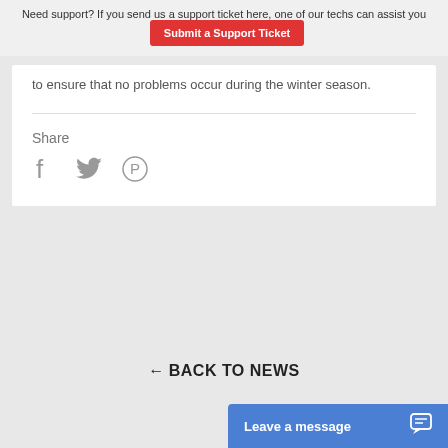Need support? If you send us a support ticket here, one of our techs can assist you  [Submit a Support Ticket]
to ensure that no problems occur during the winter season.
Share
[Figure (infographic): Social sharing icons: Facebook (f), Twitter (bird), Pinterest (P)]
← BACK TO NEWS
Leave a message